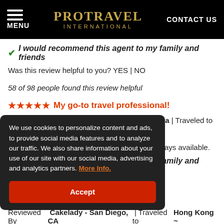PROTRAVEL INTERNATIONAL | MENU | CONTACT US
✔ I would recommend this agent to my family and friends
Was this review helpful to you? YES | NO
58 of 98 people found this review helpful
★★★★★ My go-to travel professional!
Reviewed By PCarnathan - Menifee, California | Traveled to Panama Canal ~ Panama ~ Central America
Lyndee is professional, knowledgeable and always available.
✔ I would recommend this agent to my family and friends
We use cookies to personalize content and ads, to provide social media features and to analyze our traffic. We also share information about your use of our site with our social media, advertising and analytics partners. More Info.
Accept
Reviewed By Cakelady - San Diego, CA | Traveled to Hong Kong ~